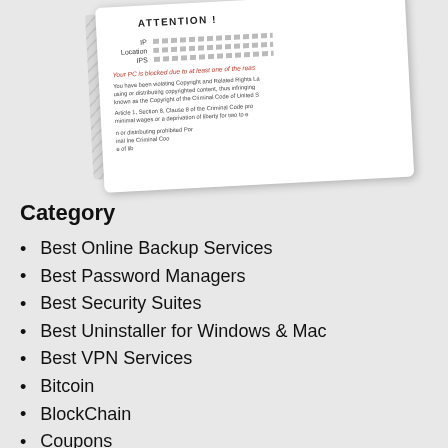[Figure (screenshot): A tilted screenshot of a browser warning/scam page showing 'ATTENTION!' header with fields for IP, Location, IPS, and text about PC being blocked due to copyright violations.]
Category
Best Online Backup Services
Best Password Managers
Best Security Suites
Best Uninstaller for Windows & Mac
Best VPN Services
Bitcoin
BlockChain
Coupons
Domain & Hosting
Enjoy Risk Free Trial